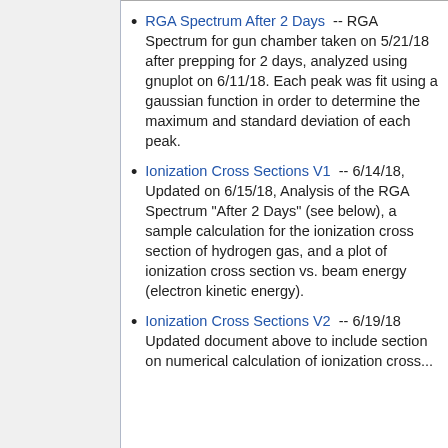RGA Spectrum After 2 Days -- RGA Spectrum for gun chamber taken on 5/21/18 after prepping for 2 days, analyzed using gnuplot on 6/11/18. Each peak was fit using a gaussian function in order to determine the maximum and standard deviation of each peak.
Ionization Cross Sections V1 -- 6/14/18, Updated on 6/15/18, Analysis of the RGA Spectrum "After 2 Days" (see below), a sample calculation for the ionization cross section of hydrogen gas, and a plot of ionization cross section vs. beam energy (electron kinetic energy).
Ionization Cross Sections V2 -- 6/19/18 Updated document above to include section on numerical calculation of ionization cross...